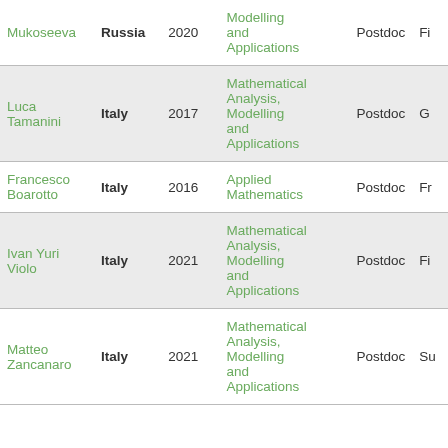| Name | Country | Year | Field | Position |  |
| --- | --- | --- | --- | --- | --- |
| Mukoseeva | Russia | 2020 | Modelling and Applications | Postdoc | Fi |
| Luca Tamanini | Italy | 2017 | Mathematical Analysis, Modelling and Applications | Postdoc | G |
| Francesco Boarotto | Italy | 2016 | Applied Mathematics | Postdoc | Fr |
| Ivan Yuri Violo | Italy | 2021 | Mathematical Analysis, Modelling and Applications | Postdoc | Fi |
| Matteo Zancanaro | Italy | 2021 | Mathematical Analysis, Modelling and Applications | Postdoc | Su |